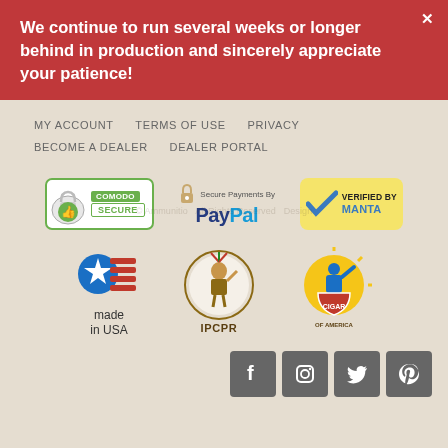We continue to run several weeks or longer behind in production and sincerely appreciate your patience!
MY ACCOUNT   TERMS OF USE   PRIVACY   BECOME A DEALER   DEALER PORTAL
[Figure (logo): Comodo Secure badge, PayPal Secure Payments badge, Verified by Manta badge]
[Figure (logo): Made in USA logo, IPCPR logo, Cigar Rights of America logo]
[Figure (logo): Social media icons: Facebook, Instagram, Twitter, Pinterest]